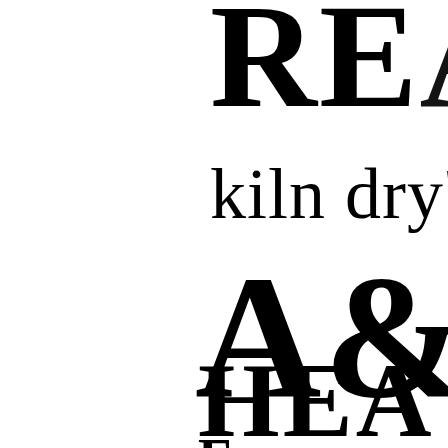RE...
kiln dry'd
A&...
HEA...
...